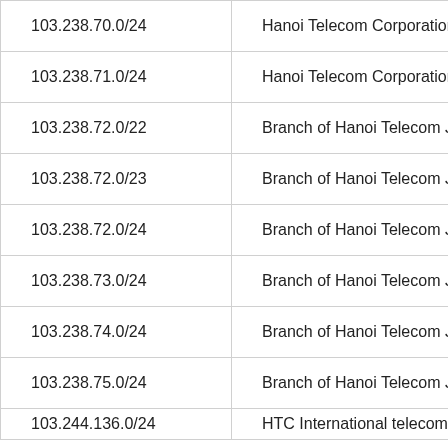| IP Range | Organization |
| --- | --- |
| 103.238.70.0/24 | Hanoi Telecom Corporation |
| 103.238.71.0/24 | Hanoi Telecom Corporation |
| 103.238.72.0/22 | Branch of Hanoi Telecom JSC in H |
| 103.238.72.0/23 | Branch of Hanoi Telecom JSC in H |
| 103.238.72.0/24 | Branch of Hanoi Telecom JSC in H |
| 103.238.73.0/24 | Branch of Hanoi Telecom JSC in H |
| 103.238.74.0/24 | Branch of Hanoi Telecom JSC in H |
| 103.238.75.0/24 | Branch of Hanoi Telecom JSC in H |
| 103.244.136.0/24 | HTC International telecommunicat |